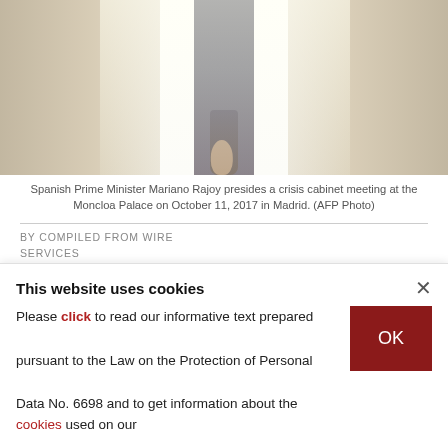[Figure (photo): Photo strip showing Spanish Prime Minister Mariano Rajoy at a crisis cabinet meeting, with curtains and figure visible]
Spanish Prime Minister Mariano Rajoy presides a crisis cabinet meeting at the Moncloa Palace on October 11, 2017 in Madrid. (AFP Photo)
BY COMPILED FROM WIRE SERVICES
OCT 21, 2017 12:00 AM
Spain's government said Saturday that it will move to suspend Catalonia's separatist government and call fresh elections in the region in
This website uses cookies

Please click to read our informative text prepared pursuant to the Law on the Protection of Personal Data No. 6698 and to get information about the cookies used on our